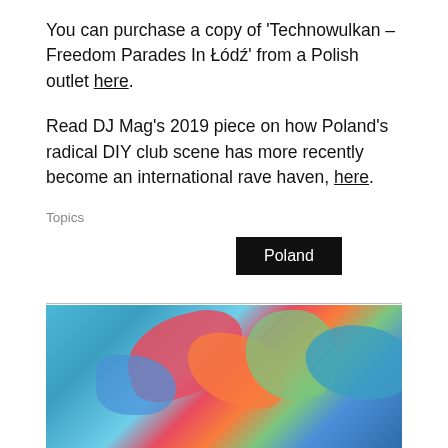You can purchase a copy of 'Technowulkan – Freedom Parades In Łódź' from a Polish outlet here.
Read DJ Mag's 2019 piece on how Poland's radical DIY club scene has more recently become an international rave haven, here.
Topics
Poland
RELATED CONTENT
[Figure (photo): Colorful photo showing vibrant splashes of paint or neon colors on what appears to be hands or fabric, with blue, red, orange, and green hues.]